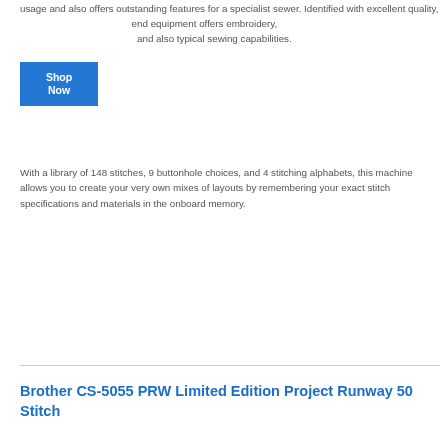usage and also offers outstanding features for a specialist sewer. Identified with excellent quality, end equipment offers embroidery, and also typical sewing capabilities.
[Figure (other): Blue 'Shop Now' button overlay on text]
With a library of 148 stitches, 9 buttonhole choices, and 4 stitching alphabets, this machine allows you to create your very own mixes of layouts by remembering your exact stitch specifications and materials in the onboard memory.
Brother CS-5055 PRW Limited Edition Project Runway 50 Stitch